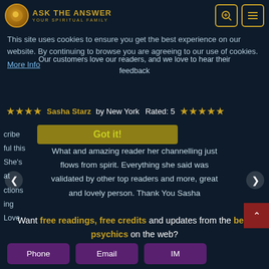ASK THE ANSWER - YOUR SPIRITUAL FAMILY
This site uses cookies to ensure you get the best experience on our website. By continuing to browse you are agreeing to our use of cookies.
Our customers love our readers, and we love to hear their feedback
More Info
Sasha Starz by New York  Rated: 5 ★★★★★
Got it!
What and amazing reader her channelling just flows from spirit. Everything she said was validated by other top readers and more, great and lovely person. Thank You Sasha
Want free readings, free credits and updates from the best psychics on the web?
Phone
Email
IM